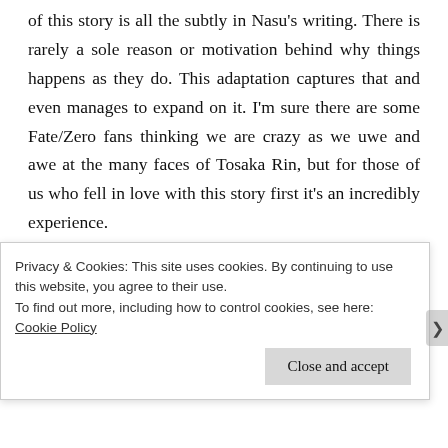of this story is all the subtly in Nasu's writing. There is rarely a sole reason or motivation behind why things happens as they do. This adaptation captures that and even manages to expand on it. I'm sure there are some Fate/Zero fans thinking we are crazy as we uwe and awe at the many faces of Tosaka Rin, but for those of us who fell in love with this story first it's an incredibly experience.

The reason I included this other than on its merits as a technical master piece is because UFOtable and their sole focus on the Type-Moon universe are turning it into what is
Privacy & Cookies: This site uses cookies. By continuing to use this website, you agree to their use.
To find out more, including how to control cookies, see here: Cookie Policy
Close and accept